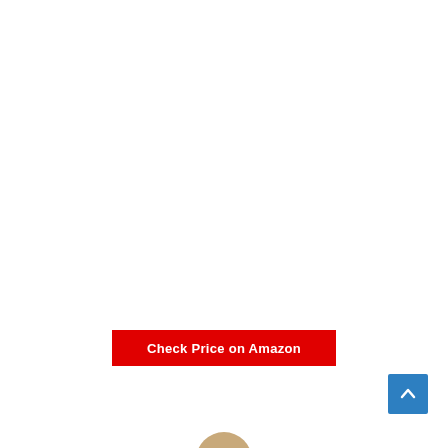[Figure (other): Red 'Check Price on Amazon' call-to-action button with white bold text]
[Figure (other): Blue square scroll-to-top button with white upward chevron arrow]
[Figure (photo): Partial view of a person's head/avatar at the very bottom of the page]